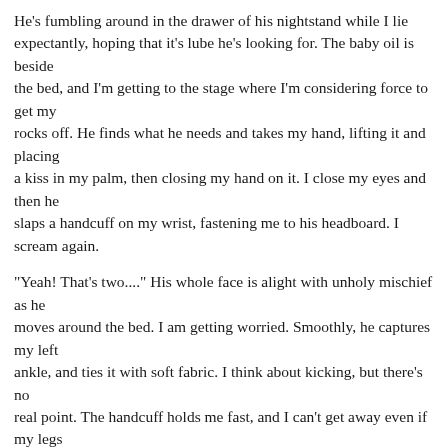He's fumbling around in the drawer of his nightstand while I lie expectantly, hoping that it's lube he's looking for. The baby oil is beside the bed, and I'm getting to the stage where I'm considering force to get my rocks off. He finds what he needs and takes my hand, lifting it and placing a kiss in my palm, then closing my hand on it. I close my eyes and then he slaps a handcuff on my wrist, fastening me to his headboard. I scream again.
"Yeah! That's two...." His whole face is alight with unholy mischief as he moves around the bed. I am getting worried. Smoothly, he captures my left ankle, and ties it with soft fabric. I think about kicking, but there's no real point. The handcuff holds me fast, and I can't get away even if my legs are free. I give in, but I feel very weak and out of control now. It's not something I've ever felt before. I let him tie me down, and the critter in